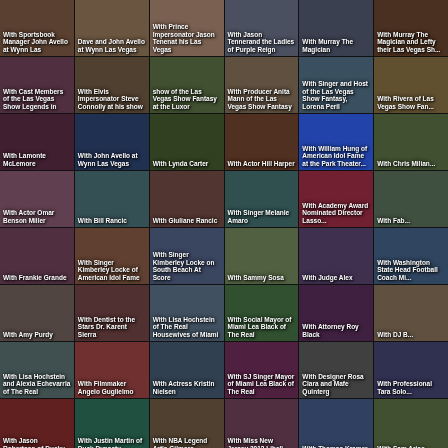[Figure (photo): Grid of celebrity photo thumbnails with text captions overlay. Row 1: With Sportsbook Manager John Avello at Wynn Las; Dave and John Avello at Wynn Las Vegas; With Prince Impersonator Jason Tenenrat his Las Vegas; With Jason Tenenner and the Ladies of Purple Reign; With Murray The Magician; With Murray The Magician and Lefty their Las Vegas Show. Row 2: With Cast Members of the Las Vegas Show Legends in; With Elvis Impersonator Steve Connolly at his show; show at the Las Vegas Show Fantasy at the Luxor; With Producer Anita Mann of the Las Vegas Show Fantasy; With Singer and Host of the Las Vegas Show Fantasy Lorena Peril; With Rivera of Las Vegas Show Fan. Row 3: With Lamonte McLemore; With John Avello at Wynn Las Vegas; With Lynda Carter; With Actor Hill Harper; With William Hung of American Idol Fame at the Park Theater; With Chris Milian. Row 4: With Actor Omar Benson Miller; With Bill Rancic; With Giuliane Rancic; With Singer Melanie Amaro; With Academy Award Nominated Director Lasso; With Fab. Row 5: With Frankie Grande; With Singer Kimberley Locke of American Idol Fame; With Singer Kimberley Locke on South Beach At Score; With Sammy Sosa; With Judge Alex; With Washington State Head Football Coach Mi. Row 6: With Amy Purdy; With Dentist to the Stars Dr. Karent Sierra; With Lisa Hochstein of The Real Housewives of Miami; With Social Mayor of Miami Lea Black of The Real; With Attorney Roy Black; With DJ B. Row 7: With Lisa Hochstein and Alexia Echevarria of The Real; With Filmmaker Angelo Guglielmo; With Actress Kristin Nielsen; With SJ Singer Mayor of Miami Lea Black of The Real; With Designer Rosa Clara and Mafe Quinterg; With Professional Tara Solo. Row 8: With Jason Robertson of Ducky; With Justin Martin of Duck Dynasty; With NBA Legend Artis Gilmore; With Miss New Jersey 2013 Libell; With Thomas Kramer; With Sam Ariso.]